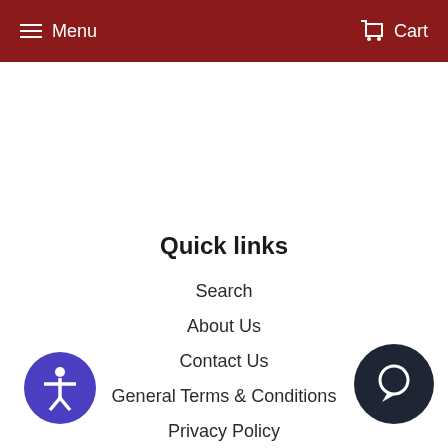Menu  Cart
Quick links
Search
About Us
Contact Us
General Terms & Conditions
Privacy Policy
Shipping & Returns
Sex Toys & Materials
Newsletter Sign Up
Work For Us
[Figure (illustration): Accessibility button (blue circle with person icon) in bottom left corner]
[Figure (illustration): Chat button (dark circle with chat bubble icon) in bottom right corner]